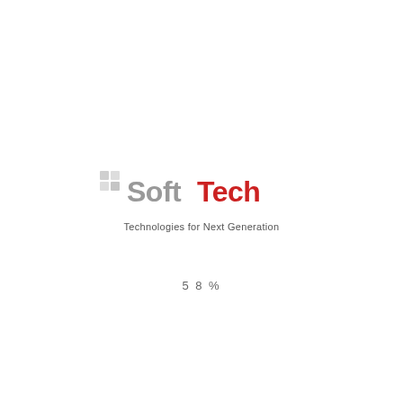[Figure (logo): SoftTech logo with grid of squares icon on the left, 'Soft' in grey and 'Tech' in red text, tagline 'Technologies for Next Generation' below]
58%